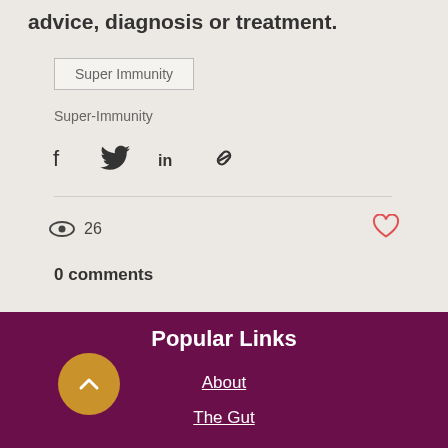advice, diagnosis or treatment.
Super Immunity
Super-Immunity
[Figure (infographic): Social share icons: Facebook, Twitter, LinkedIn, link/copy]
26 views
[Figure (infographic): Heart/like icon in red/coral]
0 comments
Popular Links
About
The Gut
[Figure (infographic): Gold circular back-to-top button with upward chevron]